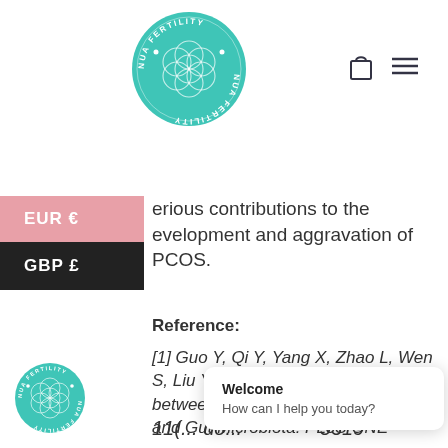[Figure (logo): Nua Fertility circular teal logo with flower of life design, text around circle reading NUA FERTILITY]
erious contributions to the evelopment and aggravation of PCOS.
Reference:
[1] Guo Y, Qi Y, Yang X, Zhao L, Wen S, Liu Y,et al. (2016) Association between Polycystic Ovary Syndrome and Gut Microbiota. PLoS ONE 11(... do... 5319
[Figure (logo): Small Nua Fertility circular teal logo at bottom left]
Welcome
How can I help you today?